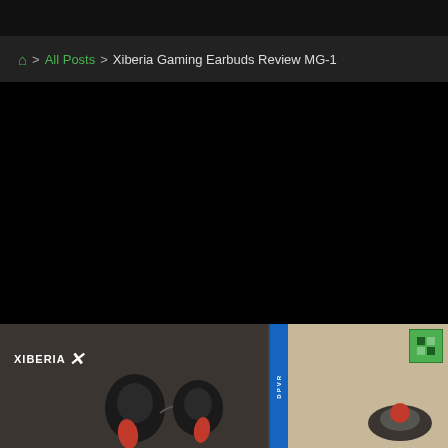Home > All Posts > Xiberia Gaming Earbuds Review MG-1
[Figure (other): Black video embed area (dark/blank video player)]
[Figure (photo): Two side-by-side product photos: left shows Xiberia MG-1 gaming earbuds in black with red tips on dark gray box packaging with Xiberia logo; right shows another product photo with blue banner on left side and green icon in top right corner]